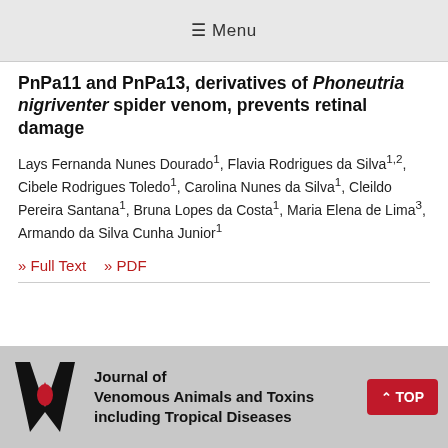☰ Menu
PnPa11 and PnPa13, derivatives of Phoneutria nigriventer spider venom, prevents retinal damage
Lays Fernanda Nunes Dourado¹, Flavia Rodrigues da Silva¹·², Cibele Rodrigues Toledo¹, Carolina Nunes da Silva¹, Cleildo Pereira Santana¹, Bruna Lopes da Costa¹, Maria Elena de Lima³, Armando da Silva Cunha Junior¹
» Full Text   » PDF
Journal of Venomous Animals and Toxins including Tropical Diseases